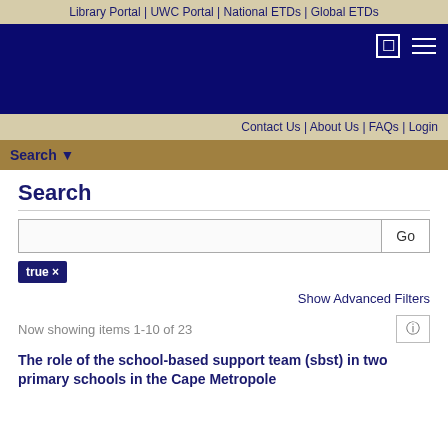Library Portal | UWC Portal | National ETDs | Global ETDs
[Figure (screenshot): Dark blue university library header with search icon and hamburger menu]
Contact Us | About Us | FAQs | Login
Search ▾
Search
true ×
Show Advanced Filters
Now showing items 1-10 of 23
The role of the school-based support team (sbst) in two primary schools in the Cape Metropole